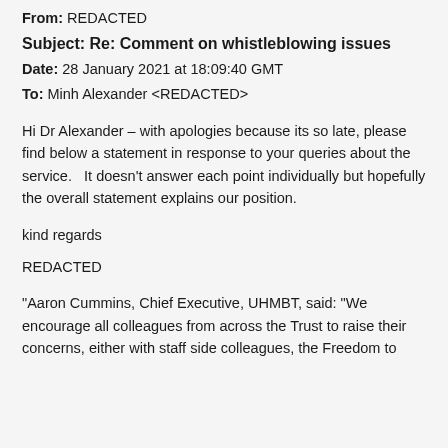From: REDACTED
Subject: Re: Comment on whistleblowing issues
Date: 28 January 2021 at 18:09:40 GMT
To: Minh Alexander <REDACTED>
Hi Dr Alexander – with apologies because its so late, please find below a statement in response to your queries about the service.   It doesn't answer each point individually but hopefully the overall statement explains our position.
kind regards
REDACTED
“Aaron Cummins, Chief Executive, UHMBT, said: “We encourage all colleagues from across the Trust to raise their concerns, either with staff side colleagues, the Freedom to